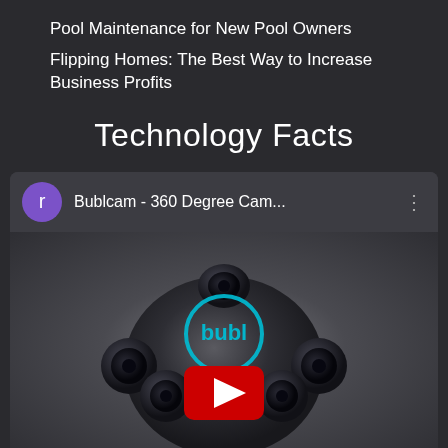Pool Maintenance for New Pool Owners
Flipping Homes: The Best Way to Increase Business Profits
Technology Facts
[Figure (screenshot): YouTube video card showing 'Bublcam - 360 Degree Cam...' with a purple avatar icon labeled 'r', a three-dot menu icon, and a thumbnail of a black spherical 360-degree camera (Bublcam) with the 'bubl' logo in teal and a YouTube play button overlay.]